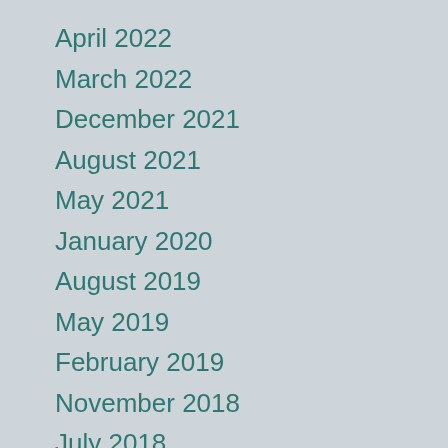April 2022
March 2022
December 2021
August 2021
May 2021
January 2020
August 2019
May 2019
February 2019
November 2018
July 2018
June 2018
May 2018